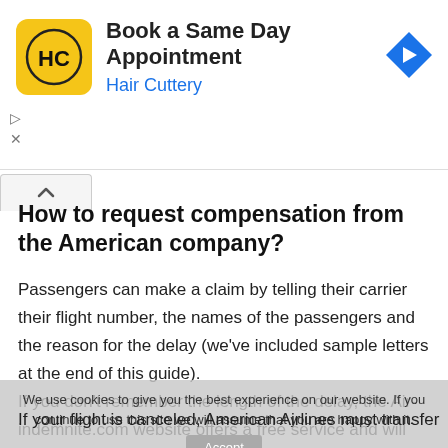[Figure (advertisement): Hair Cuttery ad banner: yellow logo with HC initials, text 'Book a Same Day Appointment' and 'Hair Cuttery', blue diamond navigation arrow icon on right]
How to request compensation from the American company?
Passengers can make a claim by telling their carrier their flight number, the names of the passengers and the reason for the delay (we've included sample letters at the end of this guide).
If you don't remember the length of the delay, the Air-indemnite.com website offers a free service and will show you how long a flight has been delayed, although it does not indicate the reason for the delay.
If your flight is canceled, American Airlines must transfer